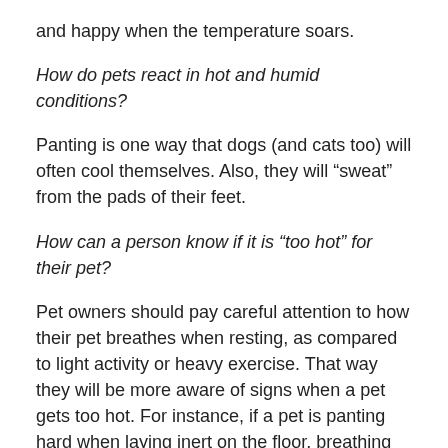and happy when the temperature soars.
How do pets react in hot and humid conditions?
Panting is one way that dogs (and cats too) will often cool themselves. Also, they will “sweat” from the pads of their feet.
How can a person know if it is “too hot” for their pet?
Pet owners should pay careful attention to how their pet breathes when resting, as compared to light activity or heavy exercise. That way they will be more aware of signs when a pet gets too hot. For instance, if a pet is panting hard when laying inert on the floor, breathing with its mouth open, seeming listless, or suffering from a lack of appetite or diarrhea – these are clinical signs of when a pet is too hot. If your pet is suffering from those symptoms